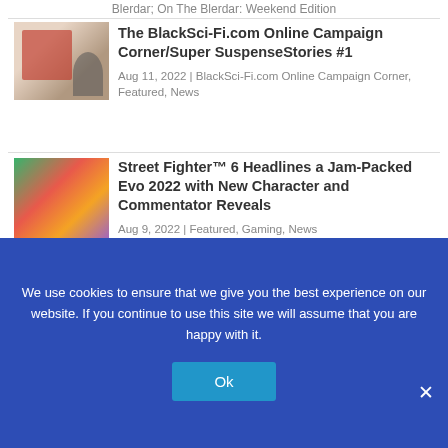Blerdar; On The Blerdar: Weekend Edition
[Figure (photo): Thumbnail image for BlackSci-Fi article, indoor scene with people]
The BlackSci-Fi.com Online Campaign Corner/Super SuspenseStories #1
Aug 11, 2022 | BlackSci-Fi.com Online Campaign Corner, Featured, News
[Figure (photo): Thumbnail image for Street Fighter 6 article, colorful gaming artwork]
Street Fighter™ 6 Headlines a Jam-Packed Evo 2022 with New Character and Commentator Reveals
Aug 9, 2022 | Featured, Gaming, News
[Figure (photo): Thumbnail image for On The Blerdar Weekend Edition article, dark background with Urban Nerd Gas logo]
On The Blerdar: Weekend Edition (7/29/22)
We use cookies to ensure that we give you the best experience on our website. If you continue to use this site we will assume that you are happy with it.